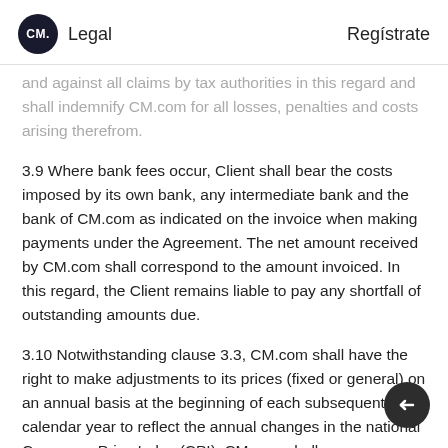CM. Legal    Regístrate
and against all claims by tax authorities in this regard and shall indemnify CM.com for all losses, penalties and costs arising therefrom.
3.9 Where bank fees occur, Client shall bear the costs imposed by its own bank, any intermediate bank and the bank of CM.com as indicated on the invoice when making payments under the Agreement. The net amount received by CM.com shall correspond to the amount invoiced. In this regard, the Client remains liable to pay any shortfall of outstanding amounts due.
3.10 Notwithstanding clause 3.3, CM.com shall have the right to make adjustments to its prices (fixed or general) on an annual basis at the beginning of each subsequent calendar year to reflect the annual changes in the national Consumer Price Index (CPI). CM.com shall use reasonable efforts to inform the Client in advance of such price increases.